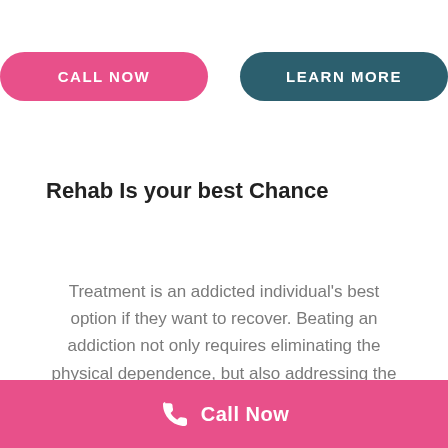[Figure (other): Two buttons: pink 'CALL NOW' button and teal 'LEARN MORE' button]
Rehab Is your best Chance
Treatment is an addicted individual's best option if they want to recover. Beating an addiction not only requires eliminating the physical dependence, but also addressing the behavioral factors that prevent them from wanting to get better. Simply quitting may not change the psychological aspect of addiction. Some people quit for a
Call Now